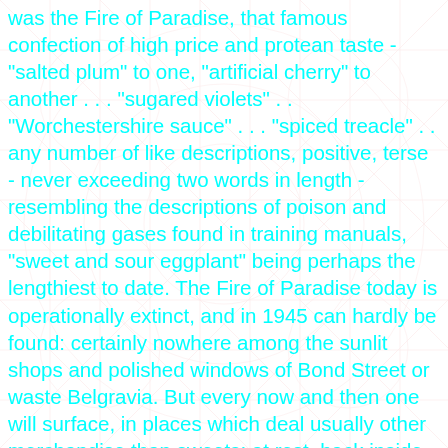was the Fire of Paradise, that famous confection of high price and protean taste - "salted plum" to one, "artificial cherry" to another . . . "sugared violets" . . "Worchestershire sauce" . . . "spiced treacle" . . any number of like descriptions, positive, terse - never exceeding two words in length - resembling the descriptions of poison and debilitating gases found in training manuals, "sweet and sour eggplant" being perhaps the lengthiest to date. The Fire of Paradise today is operationally extinct, and in 1945 can hardly be found: certainly nowhere among the sunlit shops and polished windows of Bond Street or waste Belgravia. But every now and then one will surface, in places which deal usually other merchandise than sweets; at rest, back inside big glass jars clouded by the days, along with objects like itself, sometimes only one candy to a whole jar, nearly hidden in the ambient tourmalines in German gold, carved ebony finger finger-stalls from the last century, pegs, valve-pieces, threaded hardware from obscure musical instruments, electronic components of resin and copper that the War, in its glutton, ever-nibbling intake, has not yet found and licked back into its darkness . . . . Places where the motors never come close enough to be loud, and there are